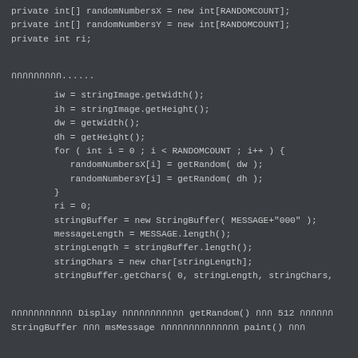private int[] randomNumbersX = new int[RANDOMCOUNT];
private int[] randomNumbersY = new int[RANDOMCOUNT];
private int ri;
กกกกกกกกก......
iw = stringImage.getWidth();
ih = stringImage.getHeight();
dw = getWidth();
dh = getHeight();
for ( int i = 0 ; i < RANDOMCOUNT ; i++ ) {
   randomNumbersX[i] = getRandom( dw );
   randomNumbersY[i] = getRandom( dh );
}
ri = 0;
stringBuffer = new StringBuffer( MESSAGE+"000" );
messageLength = MESSAGE.length();
stringLength = stringBuffer.length();
stringChars = new char[stringLength];
stringBuffer.getChars( 0, stringLength, stringChars,
กกกกกกกกกกก Display กกกกกกกกกกก getRandom() กกก 512 กกกกกก
StringBuffer กกก msMessage กกกกกกกกกกกกกก paint() กกก